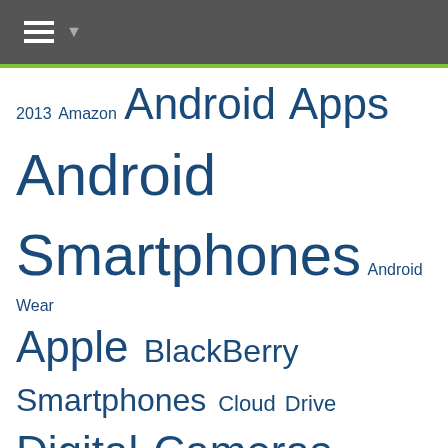Navigation menu bar
2013 Amazon Android Apps Android Smartphones Android Wear Apple BlackBerry Smartphones Cloud Drive Digital Cameras Download eBook Readers External Hard Drives Facebook Gaming Console Google Google Chrome HTC Smartphones iOS App iPad iPad2 iPhone6 Laptops Live Video Streaming Microsoft Mobile Phones Motorola Motorola Smartphone Mozilla Firefox Nokia Smartphones Portable Speaker Routers Samsung Samsung Smartphones Smartphone Smart TV SmartWatch Social Network Tablets Tech Features